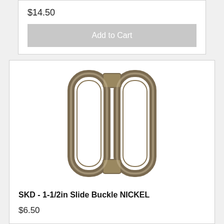$14.50
Add to Cart
[Figure (photo): Photo of a nickel-plated 1-1/2 inch slide buckle hardware piece, showing two oval loops joined together, metallic silver finish.]
SKD - 1-1/2in Slide Buckle NICKEL
$6.50